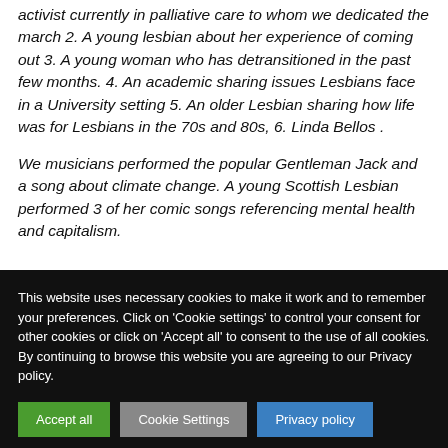activist currently in palliative care to whom we dedicated the march 2. A young lesbian about her experience of coming out 3. A young woman who has detransitioned in the past few months. 4. An academic sharing issues Lesbians face in a University setting 5. An older Lesbian sharing how life was for Lesbians in the 70s and 80s, 6. Linda Bellos .
We musicians performed the popular Gentleman Jack and a song about climate change. A young Scottish Lesbian performed 3 of her comic songs referencing mental health and capitalism.
This website uses necessary cookies to make it work and to remember your preferences. Click on 'Cookie settings' to control your consent for other cookies or click on 'Accept all' to consent to the use of all cookies. By continuing to browse this website you are agreeing to our Privacy policy.